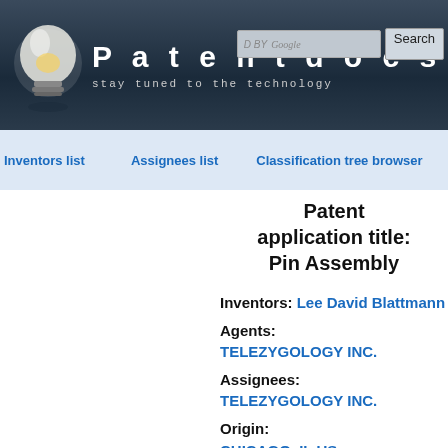Patentdocs — stay tuned to the technology
Inventors list
Assignees list
Classification tree browser
Patent application title: Pin Assembly
Inventors: Lee David Blattmann
Agents: TELEZYGOLOGY INC.
Assignees: TELEZYGOLOGY INC.
Origin: CHICAGO, IL US
IPC8 Class: AE05B1512FI
USPC Cl...